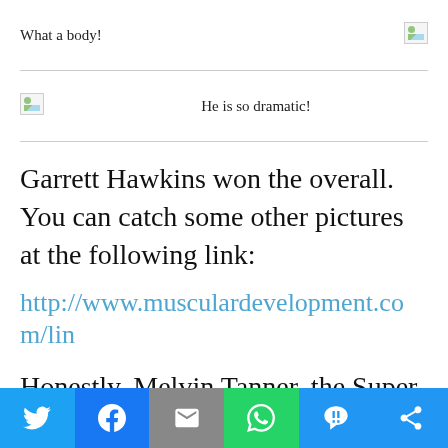What a body!
[Figure (photo): Broken image placeholder (top right)]
[Figure (photo): Broken image placeholder (left, second row)]
He is so dramatic!
Garrett Hawkins won the overall.  You can catch some other pictures at the following link:
http://www.musculardevelopment.com/lin…
Honestly, Melvin Tanner, the Super Heavyweight winner and the guy who